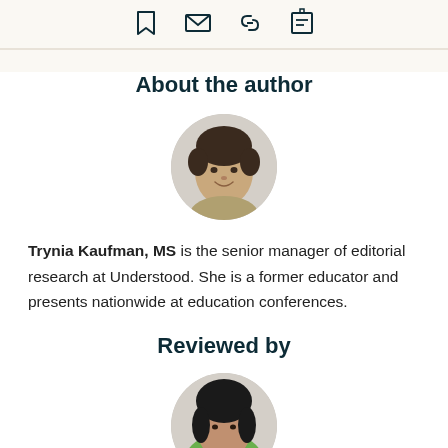[Figure (other): Toolbar icons: bookmark, mail, link, share/edit]
About the author
[Figure (photo): Circular headshot photo of Trynia Kaufman, a woman with short dark hair, smiling]
Trynia Kaufman, MS is the senior manager of editorial research at Understood. She is a former educator and presents nationwide at education conferences.
Reviewed by
[Figure (photo): Circular headshot photo of reviewer, partially visible at bottom of page]